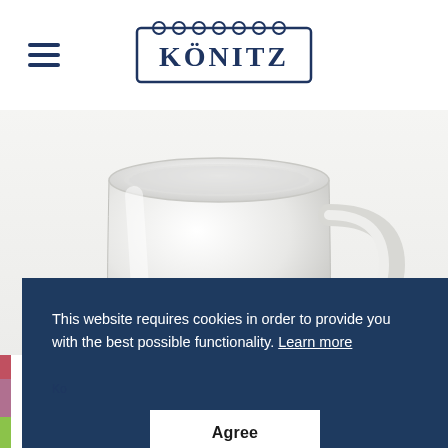[Figure (logo): KÖNITZ brand logo with ornate border, dark blue text]
[Figure (photo): White ceramic mug (Könitz) on light grey/white background, seen from slightly above side angle]
This website requires cookies in order to provide you with the best possible functionality. Learn more
Agree